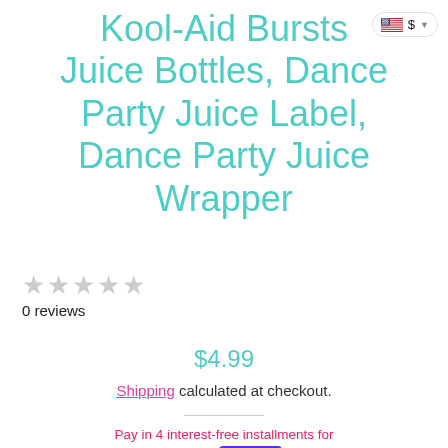[Figure (logo): US flag with dollar sign currency selector button in top right corner]
Kool-Aid Bursts Juice Bottles, Dance Party Juice Label, Dance Party Juice Wrapper
★★★★★ 0 reviews
$4.99
Shipping calculated at checkout.
Pay in 4 interest-free installments for orders over $50 with Shop Pay. Learn more